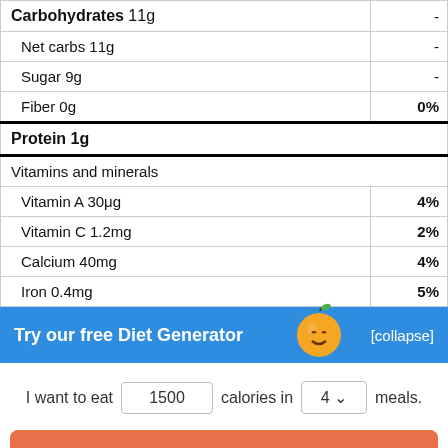| Nutrient | % Daily Value |
| --- | --- |
| Carbohydrates 11g | - |
| Net carbs 11g | - |
| Sugar 9g | - |
| Fiber 0g | 0% |
| Protein 1g |  |
| Vitamins and minerals |  |
| Vitamin A 30μg | 4% |
| Vitamin C 1.2mg | 2% |
| Calcium 40mg | 4% |
| Iron 0.4mg | 5% |
Try our free Diet Generator
[collapse]
I want to eat 1500 calories in 4 meals.
Generate